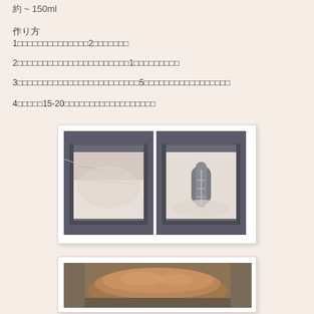約 ~ 150ml
作り方
1□□□□□□□□□□□□□□2□□□□□□□
2□□□□□□□□□□□□□□□□□□□1□□□□□□□□□
3□□□□□□□□□□□□□□□□□□□□□5□□□□□□□□□□□□□□□□
4□□□□□15-20□□□□□□□□□□□□□□□□□
[Figure (photo): Two photos side by side showing bread pan with dough/flour before and after kneading blade, inside a bread machine]
[Figure (photo): Photo showing baked bread loaf inside a bread machine pan]